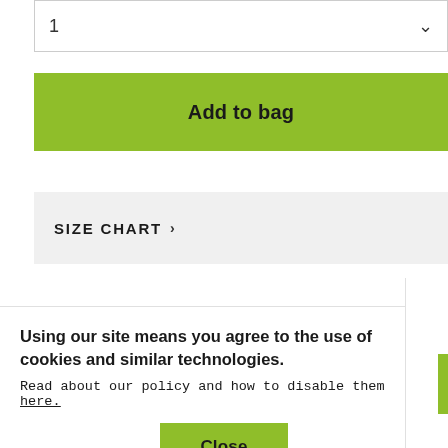1
Add to bag
SIZE CHART >
Lay back after a long day and rest your head on this luxurious medium support duck down pillow, a super comfortable and supportive choice. Light ar
Using our site means you agree to the use of cookies and similar technologies.
Read about our policy and how to disable them here.
Close